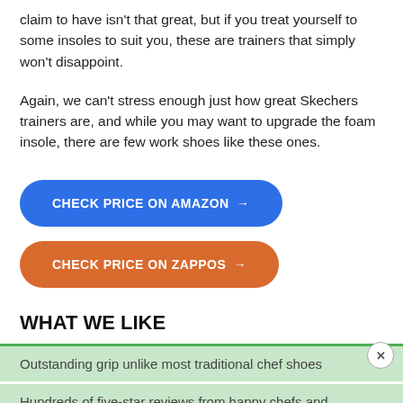claim to have isn't that great, but if you treat yourself to some insoles to suit you, these are trainers that simply won't disappoint.
Again, we can't stress enough just how great Skechers trainers are, and while you may want to upgrade the foam insole, there are few work shoes like these ones.
CHECK PRICE ON AMAZON →
CHECK PRICE ON ZAPPOS →
WHAT WE LIKE
Outstanding grip unlike most traditional chef shoes
Hundreds of five-star reviews from happy chefs and